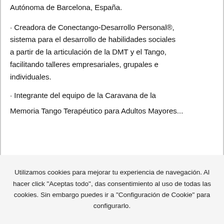Autónoma de Barcelona, España.
• Creadora de Conectango-Desarrollo Personal®, sistema para el desarrollo de habilidades sociales a partir de la articulación de la DMT y el Tango, facilitando talleres empresariales, grupales e individuales.
• Integrante del equipo de la Caravana de la Memoria Tango Terapéutico para Adultos Mayores...
Utilizamos cookies para mejorar tu experiencia de navegación. Al hacer click "Aceptas todo", das consentimiento al uso de todas las cookies. Sin embargo puedes ir a "Configuración de Cookie" para configurarlo.